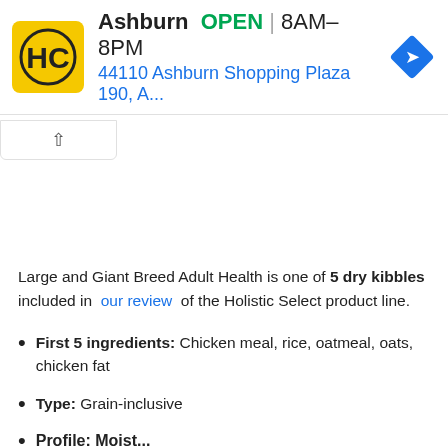[Figure (screenshot): Ad banner showing HC logo, 'Ashburn OPEN | 8AM–8PM' and '44110 Ashburn Shopping Plaza 190, A...' with a blue navigation arrow icon]
Large and Giant Breed Adult Health is one of 5 dry kibbles included in our review of the Holistic Select product line.
First 5 ingredients: Chicken meal, rice, oatmeal, oats, chicken fat
Type: Grain-inclusive